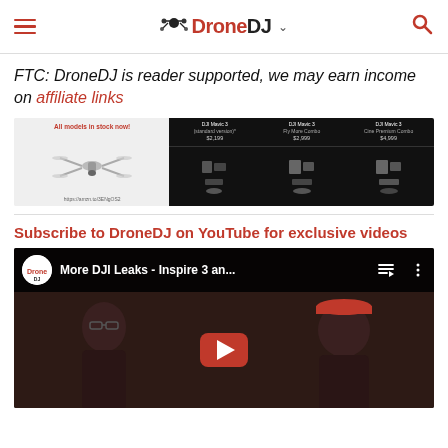DroneDJ
FTC: DroneDJ is reader supported, we may earn income on affiliate links
[Figure (photo): Advertisement for DJI Mavic 3 drones showing three models: standard version ($2,199), Fly More Combo ($2,999), and Cine Premium Combo ($4,999). Left side shows drone image with 'All models in stock now!' text and Amazon link https://amzn.to/3ENgOS2. Right side on black background shows product components for each combo.]
Subscribe to DroneDJ on YouTube for exclusive videos
[Figure (screenshot): YouTube video embed showing 'More DJI Leaks - Inspire 3 an...' with DroneDJ channel icon, playlist queue icon, and three-dot menu. Video thumbnail shows two people (a woman with glasses on the left, a man in a cap on the right) with a large red YouTube play button in the center.]